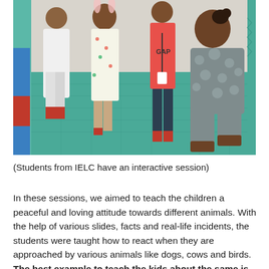[Figure (photo): Children and a crouching adult woman having an interactive session on a teal foam mat floor. Several young girls in dresses stand around the woman who is kneeling down to their level. One child in the back wears a pink GAP hoodie.]
(Students from IELC have an interactive session)
In these sessions, we aimed to teach the children a peaceful and loving attitude towards different animals. With the help of various slides, facts and real-life incidents, the students were taught how to react when they are approached by various animals like dogs, cows and birds. The best example to teach the kids about the same is by the four L's, namely: Look at them, Learn about